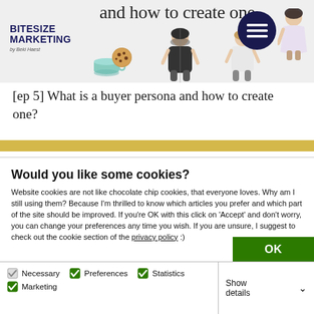and how to create one — Bitesize Marketing by Beki Haest
[ep 5] What is a buyer persona and how to create one?
Would you like some cookies?
Website cookies are not like chocolate chip cookies, that everyone loves. Why am I still using them? Because I'm thrilled to know which articles you prefer and which part of the site should be improved. If you're OK with this click on 'Accept' and don't worry, you can change your preferences any time you wish. If you are unsure, I suggest to check out the cookie section of the privacy policy :)